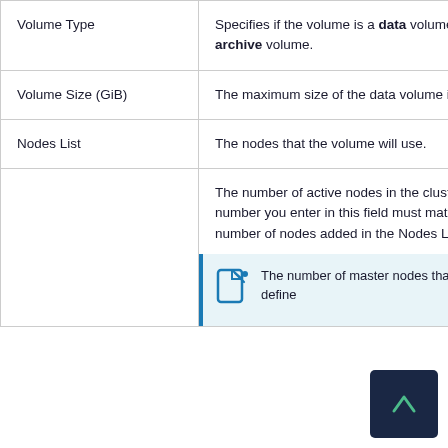| Field | Description |
| --- | --- |
| Volume Type | Specifies if the volume is a data volume or an archive volume. |
| Volume Size (GiB) | The maximum size of the data volume in GiB. |
| Nodes List | The nodes that the volume will use. |
|  | The number of active nodes in the cluster. The number you enter in this field must match the number of nodes added in the Nodes List.
[NOTE: The number of master nodes that you define] |